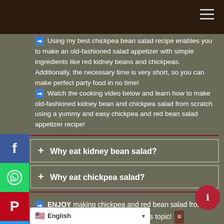Using my best chickpea bean salad recipe enables you to make an old-fashioned salad appetizer with simple ingredients like red kidney beans and chickpeas. Additionally, the necessary time is very short, so you can make perfect party food in no time! Watch the cooking video below and learn how to make old-fashioned kidney bean and chickpea salad from scratch using a yummy and easy chickpea and red bean salad appetizer recipe!
+ Why eat kidney bean salad?
+ Why eat chickpea salad?
ENJOY making chickpea and red bean salad from scratch! Leave a comment on this topic!
English